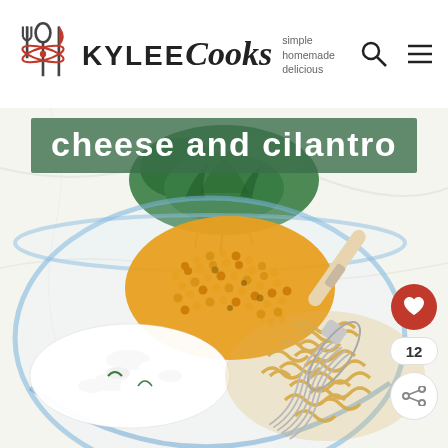[Figure (logo): Kylee Cooks logo with fork/spoon/knife icon and tagline 'simple homemade delicious']
cheese and cilantro
[Figure (photo): Glass bowl containing rotini pasta, corn kernels, crumbled white cheese, and fresh cilantro/parsley, with a whisk resting in the bowl, on a white marble surface]